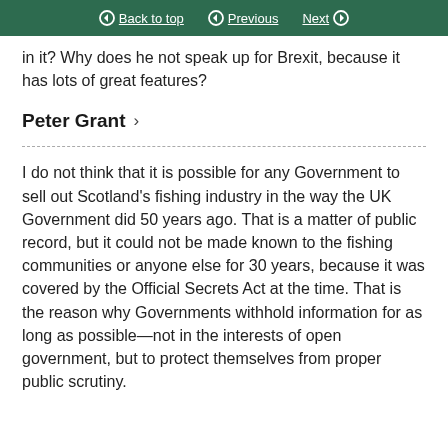Back to top | Previous | Next
in it? Why does he not speak up for Brexit, because it has lots of great features?
Peter Grant >
I do not think that it is possible for any Government to sell out Scotland’s fishing industry in the way the UK Government did 50 years ago. That is a matter of public record, but it could not be made known to the fishing communities or anyone else for 30 years, because it was covered by the Official Secrets Act at the time. That is the reason why Governments withhold information for as long as possible—not in the interests of open government, but to protect themselves from proper public scrutiny.